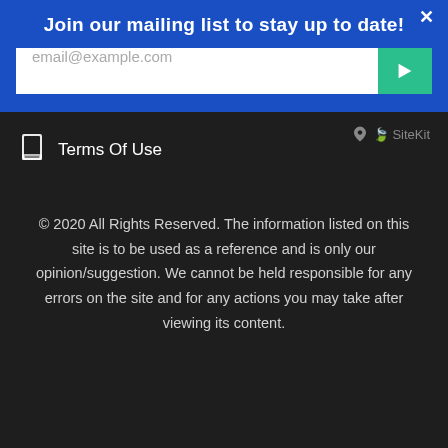Join our mailing list to stay up to date!
[Figure (screenshot): Email input field with placeholder 'email@example.com' and a teal submit arrow button]
[Figure (logo): SiteKit logo with leaf/nature icon in gray]
Terms Of Use
© 2020 All Rights Reserved. The information listed on this site is to be used as a reference and is only our opinion/suggestion. We cannot be held responsible for any errors on the site and for any actions you may take after viewing its content.
[Figure (other): reCAPTCHA badge with Privacy · Terms]